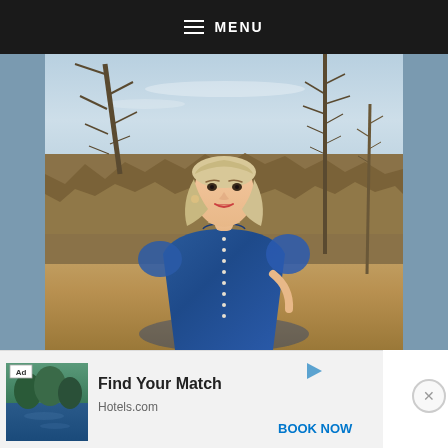MENU
[Figure (photo): A smiling woman with blonde hair wearing a blue button-front dress, standing outdoors with bare trees and dry grass in the background, sunny day.]
[Figure (photo): Advertisement banner: Ad label top-left, small landscape/water photo on left, 'Find Your Match' headline, 'Hotels.com' URL, 'BOOK NOW' button in blue, play button icon top-right, close X button far right.]